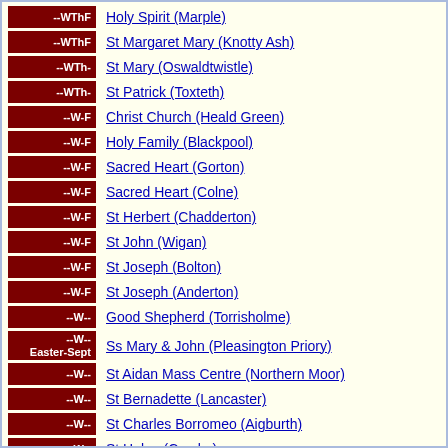--WThF | Holy Spirit (Marple)
--WThF | St Margaret Mary (Knotty Ash)
--WTh- | St Mary (Oswaldtwistle)
--WTh- | St Patrick (Toxteth)
--W-F | Christ Church (Heald Green)
--W-F | Holy Family (Blackpool)
--W-F | Sacred Heart (Gorton)
--W-F | Sacred Heart (Colne)
--W-F | St Herbert (Chadderton)
--W-F | St John (Wigan)
--W-F | St Joseph (Bolton)
--W-F | St Joseph (Anderton)
--W-- | Good Shepherd (Torrisholme)
--W-- Easter-Sept | Ss Mary & John (Pleasington Priory)
--W-- | St Aidan Mass Centre (Northern Moor)
--W-- | St Bernadette (Lancaster)
--W-- | St Charles Borromeo (Aigburth)
--W-- | St Helen (Crosby)
--W-- | St Joseph (Barnoldswick)
--W-- | St Mary (Great Eccleston)